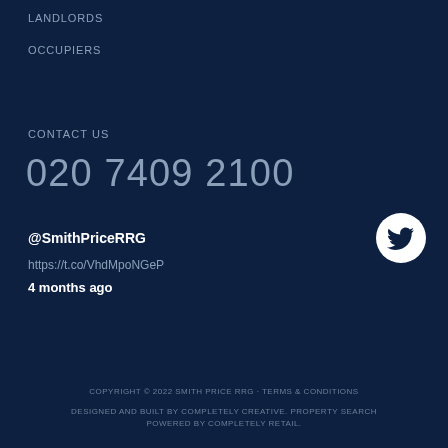LANDLORDS
OCCUPIERS
CONTACT US
020 7409 2100
@SmithPriceRRG
https://t.co/VhdMpoNGeP
4 months ago
COPYRIGHT © 2022 SMITH PRICE RRG · TERMS & CONDITIONS
DESIGNED AND BUILT BY COMPLETELY CREATIVE. PROPERTY SEARCH POWERED BY COMPLETELY RETAIL.